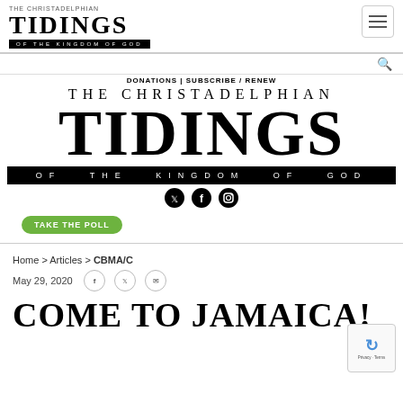THE CHRISTADELPHIAN TIDINGS OF THE KINGDOM OF GOD
DONATIONS | SUBSCRIBE / RENEW
THE CHRISTADELPHIAN TIDINGS OF THE KINGDOM OF GOD
Social icons: Twitter, Facebook, Instagram
TAKE THE POLL
Home > Articles > CBMA/C
May 29, 2020
COME TO JAMAICA!